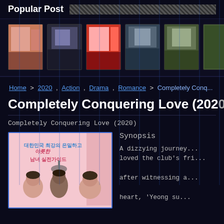Popular Post
[Figure (photo): Carousel of thumbnail images (movie/content covers) on dark background with vertical blue line overlay]
Home > 2020 , Action , Drama , Romance > Completely Conq...
Completely Conquering Love (2020)
Completely Conquering Love (2020)
[Figure (photo): Movie poster for 'Completely Conquering Love (2020)' featuring Korean text and two women and a man]
Synopsis
A dizzying journey... loved the club's fri... after witnessing a... heart, 'Yeong su...